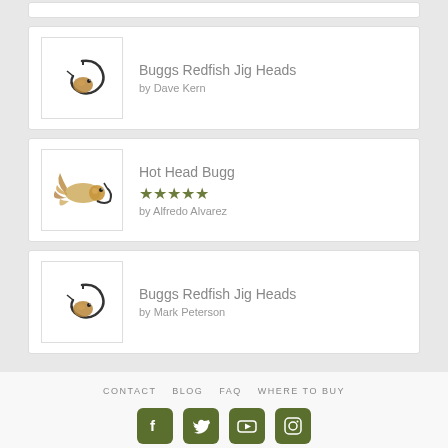[Figure (illustration): Partial product card at top, cut off]
Buggs Redfish Jig Heads by Dave Kern
Hot Head Bugg by Alfredo Alvarez, 5 stars
Buggs Redfish Jig Heads by Mark Peterson
CONTACT | BLOG | FAQ | WHERE TO BUY
All Rights Reserved.
Reverent Media | Streamlined Digital Expertise
Websites + Digital Marketing + Branding